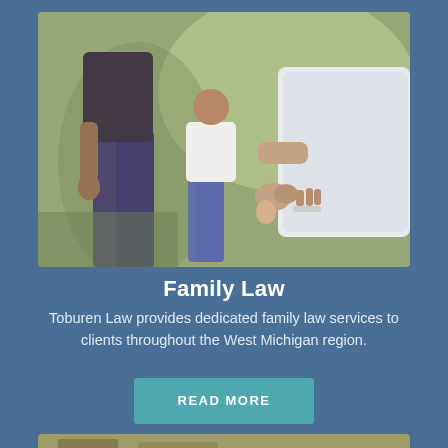[Figure (photo): Close-up photo of adults and a child holding hands outdoors, suggesting family connection]
Family Law
Toburen Law provides dedicated family law services to clients throughout the West Michigan region.
READ MORE
[Figure (photo): Partial view of a second photo at the bottom of the page]